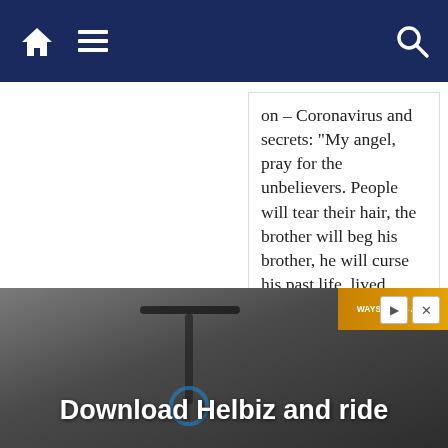Navigation bar with home, menu, and search icons
on – Coronavirus and secrets: “My angel, pray for the unbelievers. People will tear their hair, the brother will beg his brother, he will curse his past life, lived without God. They will repent, but it will be too late.”
March 13, 2020
[Figure (photo): Advertisement banner showing a scooter with text 'Download Helbiz and ride']